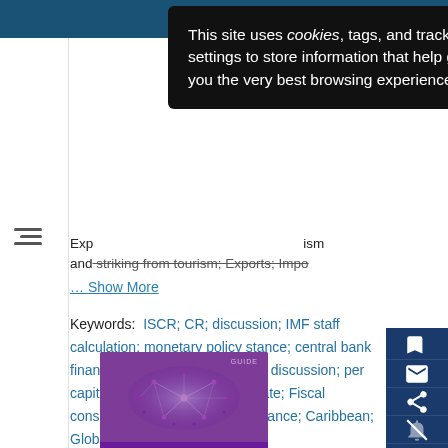[Figure (screenshot): Cookie consent popup overlay on a dark background with text: 'This site uses cookies, tags, and tracking settings to store information that help give you the very best browsing experience.' with a close button.]
Exp... ism and striking from tourism; Exports; Impo...
... Show More
Keywords:  ISCR; CR; discussion; IMF staff calculation; monetary policy stance; central bank financing; article IV consultation discussion; per capita income; money market rate; Fiscal consolidation; Tourism; Fiscal stance; Caribbean; Global
[Figure (illustration): Book cover thumbnail: 'GUIDE DE L'ENQUÊTE COORDONNÉE SUR L'INVESTISSEMENT DIRECT' with purple background and network graph illustration.]